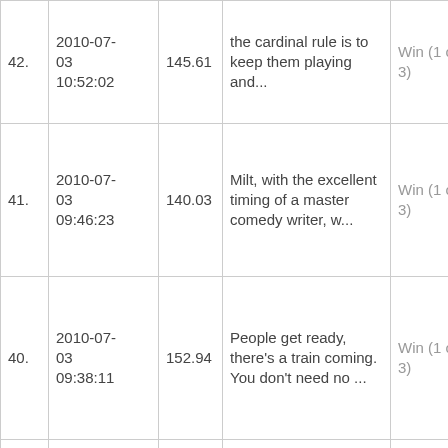| 42. | 2010-07-03
10:52:02 | 145.61 | the cardinal rule is to keep them playing and... | Win (1 of 3) | — | — |
| 41. | 2010-07-03
09:46:23 | 140.03 | Milt, with the excellent timing of a master comedy writer, w... | Win (1 of 3) | — | — |
| 40. | 2010-07-03
09:38:11 | 152.94 | People get ready, there's a train coming. You don't need no ... | Win (1 of 3) | — | — |
| 39. | 2010-07-02
16:55:56 | 164.58 | You have a class of young strong men and women, and they wan... | Win (1 of 2) | — | — |
|  |  |  | There was me. |  |  |  |